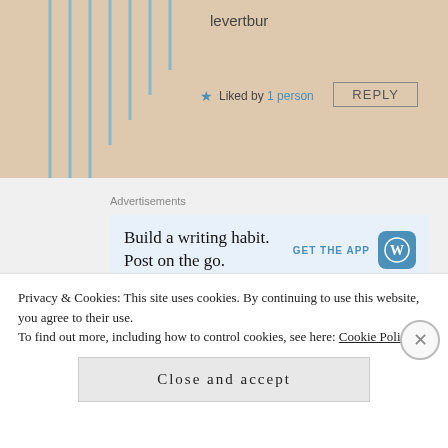levertbur
Liked by 1 person
REPLY
Advertisements
[Figure (screenshot): WordPress app advertisement banner: 'Build a writing habit. Post on the go.' with GET THE APP button and WordPress logo]
Sionna (Books in Her Eyes)
Privacy & Cookies: This site uses cookies. By continuing to use this website, you agree to their use.
To find out more, including how to control cookies, see here: Cookie Policy
Close and accept